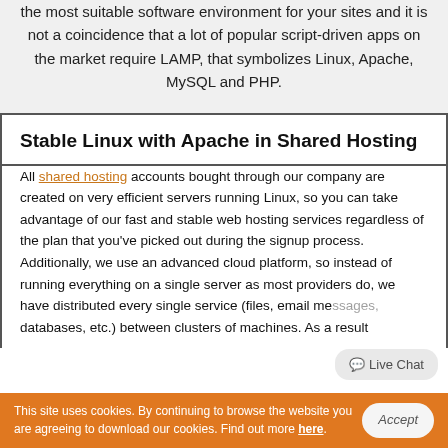the most suitable software environment for your sites and it is not a coincidence that a lot of popular script-driven apps on the market require LAMP, that symbolizes Linux, Apache, MySQL and PHP.
Stable Linux with Apache in Shared Hosting
All shared hosting accounts bought through our company are created on very efficient servers running Linux, so you can take advantage of our fast and stable web hosting services regardless of the plan that you've picked out during the signup process. Additionally, we use an advanced cloud platform, so instead of running everything on a single server as most providers do, we have distributed every single service (files, email messages, databases, etc.) between clusters of machines. As a result
Live Chat
This site uses cookies. By continuing to browse the website you are agreeing to download our cookies. Find out more here.